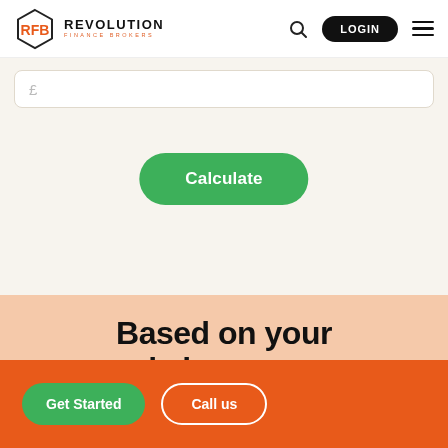[Figure (logo): Revolution Finance Brokers logo with hexagonal icon and text]
£
Calculate
Based on your yearly income, you
Get Started
Call us